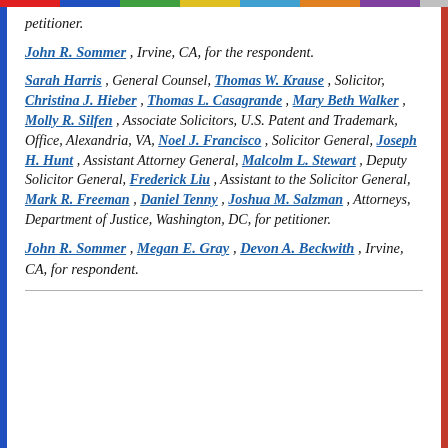petitioner.
John R. Sommer, Irvine, CA, for the respondent.
Sarah Harris, General Counsel, Thomas W. Krause, Solicitor, Christina J. Hieber, Thomas L. Casagrande, Mary Beth Walker, Molly R. Silfen, Associate Solicitors, U.S. Patent and Trademark, Office, Alexandria, VA, Noel J. Francisco, Solicitor General, Joseph H. Hunt, Assistant Attorney General, Malcolm L. Stewart, Deputy Solicitor General, Frederick Liu, Assistant to the Solicitor General, Mark R. Freeman, Daniel Tenny, Joshua M. Salzman, Attorneys, Department of Justice, Washington, DC, for petitioner.
John R. Sommer, Megan E. Gray, Devon A. Beckwith, Irvine, CA, for respondent.